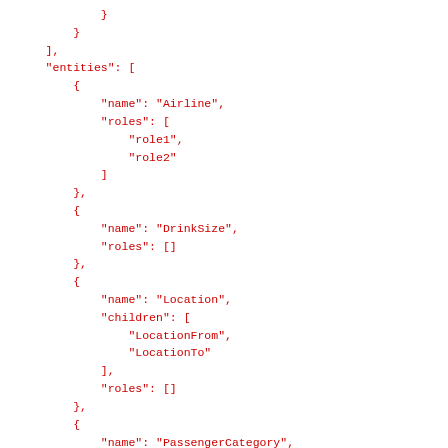}
        }
    ],
    "entities": [
        {
            "name": "Airline",
            "roles": [
                "role1",
                "role2"
            ]
        },
        {
            "name": "DrinkSize",
            "roles": []
        },
        {
            "name": "Location",
            "children": [
                "LocationFrom",
                "LocationTo"
            ],
            "roles": []
        },
        {